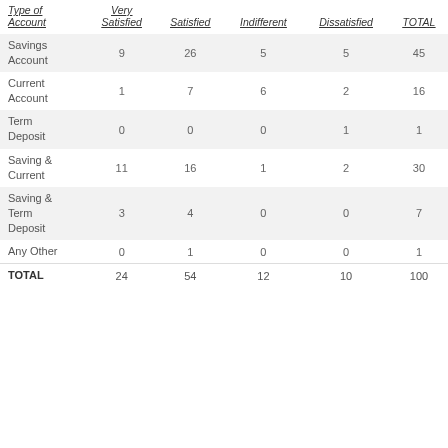| Type of Account | Very Satisfied | Satisfied | Indifferent | Dissatisfied | TOTAL |
| --- | --- | --- | --- | --- | --- |
| Savings Account | 9 | 26 | 5 | 5 | 45 |
| Current Account | 1 | 7 | 6 | 2 | 16 |
| Term Deposit | 0 | 0 | 0 | 1 | 1 |
| Saving & Current | 11 | 16 | 1 | 2 | 30 |
| Saving & Term Deposit | 3 | 4 | 0 | 0 | 7 |
| Any Other | 0 | 1 | 0 | 0 | 1 |
| TOTAL | 24 | 54 | 12 | 10 | 100 |